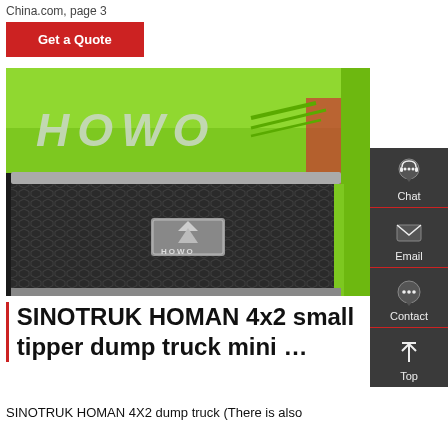China.com, page 3
Get a Quote
[Figure (photo): Close-up front view of a HOWO truck with bright green paint, showing the HOWO logo lettering on the hood and the HOWO badge on the grille]
SINOTRUK HOMAN 4x2 small tipper dump truck mini …
SINOTRUK HOMAN 4X2 dump truck (There is also